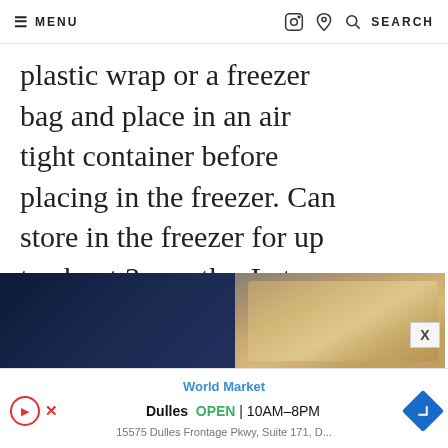≡ MENU  [instagram] [pinterest] 🔍 SEARCH
plastic wrap or a freezer bag and place in an air tight container before placing in the freezer. Can store in the freezer for up to about 3 months. Let them come to room temperature (takes about 30 to 60 minutes) before serving.
[Figure (photo): Partial view of a baked dish with food (likely a casserole or gratin) on a dark background, bottom of page]
[Figure (screenshot): Advertisement banner showing World Market store listing for Dulles location, OPEN 10AM-8PM, with navigation arrow and address]